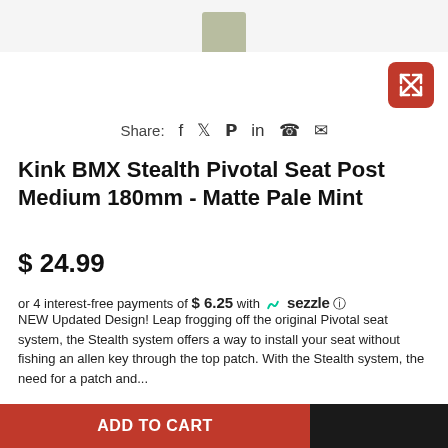[Figure (photo): Partial product image of Kink BMX Stealth Pivotal Seat Post in Matte Pale Mint color, shown at top of page]
[Figure (other): Expand/fullscreen button (red rounded square with X arrow icon) in upper right]
Share: f  t  p  in  whatsapp  email
Kink BMX Stealth Pivotal Seat Post Medium 180mm - Matte Pale Mint
$ 24.99
or 4 interest-free payments of $ 6.25 with sezzle
NEW Updated Design! Leap frogging off the original Pivotal seat system, the Stealth system offers a way to install your seat without fishing an allen key through the top patch. With the Stealth system, the need for a patch and...
Read more...